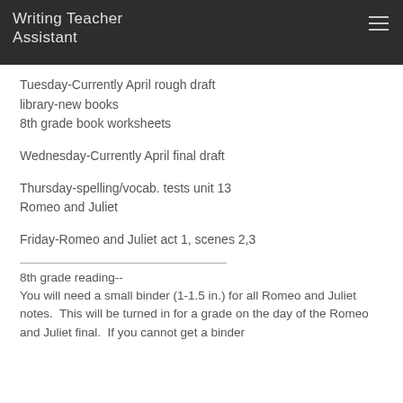Writing Teacher
Assistant
Tuesday-Currently April rough draft
library-new books
8th grade book worksheets
Wednesday-Currently April final draft
Thursday-spelling/vocab. tests unit 13
Romeo and Juliet
Friday-Romeo and Juliet act 1, scenes 2,3
8th grade reading--
You will need a small binder (1-1.5 in.) for all Romeo and Juliet notes.  This will be turned in for a grade on the day of the Romeo and Juliet final.  If you cannot get a binder